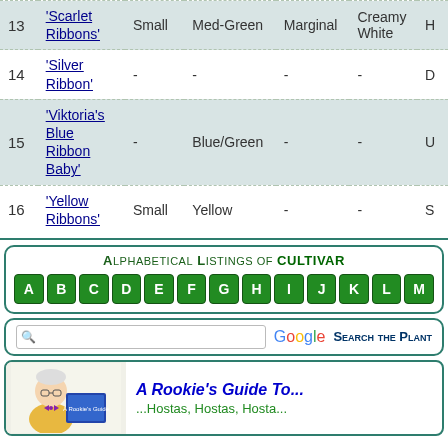| # | Name | Size | Color | Margin | Variegation | ... |
| --- | --- | --- | --- | --- | --- | --- |
| 13 | 'Scarlet Ribbons' | Small | Med-Green | Marginal | Creamy White | H... |
| 14 | 'Silver Ribbon' | - | - | - | - | D... |
| 15 | 'Viktoria's Blue Ribbon Baby' | - | Blue/Green | - | - | U... |
| 16 | 'Yellow Ribbons' | Small | Yellow | - | - | S... |
Alphabetical Listings of CULTIVAR...
[Figure (other): Alphabetical navigation letters A through M with green square button style]
[Figure (other): Google search bar with 'Search the Plant...' label]
[Figure (illustration): A Rookie's Guide To... illustration with cartoon professor and book, text: A Rookie's Guide To... ...Hostas, Hostas, Hosta...]